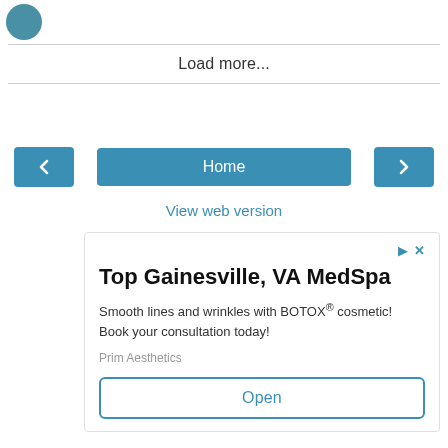[Figure (logo): Partial circular logo icon, teal/blue color, top-left corner]
Load more...
Home
View web version
[Figure (infographic): Advertisement box for Top Gainesville, VA MedSpa by Prim Aesthetics. Text: 'Top Gainesville, VA MedSpa. Smooth lines and wrinkles with BOTOX® cosmetic! Book your consultation today! Prim Aesthetics. Open button.']